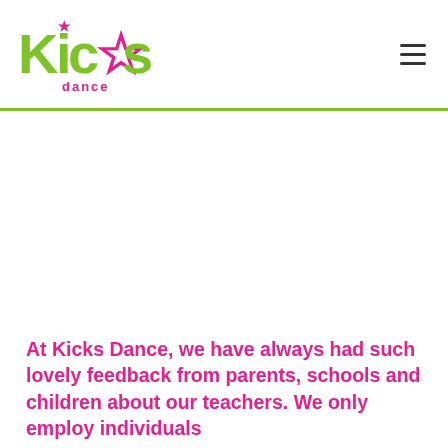[Figure (logo): Kicks Dance logo with green 'Kicks' text and pink 'dance' text below, with a pink dancer figure and star]
At Kicks Dance, we have always had such lovely feedback from parents, schools and children about our teachers. We only employ individuals